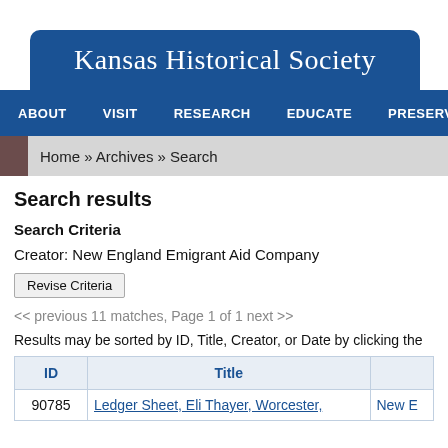Kansas Historical Society
ABOUT   VISIT   RESEARCH   EDUCATE   PRESERVE
Home » Archives » Search
Search results
Search Criteria
Creator: New England Emigrant Aid Company
Revise Criteria
<< previous 11 matches, Page 1 of 1 next >>
Results may be sorted by ID, Title, Creator, or Date by clicking the
| ID | Title |  |
| --- | --- | --- |
| 90785 | Ledger Sheet, Eli Thayer, Worcester, | New E |